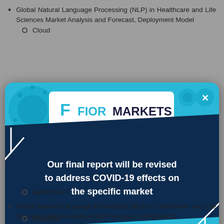Global Natural Language Processing (NLP) in Healthcare and Life Sciences Market Analysis and Forecast, Deployment Model
Cloud
[Figure (infographic): Fior Markets promotional overlay modal on a blue background with virus graphics, showing the Fior Markets logo on a white card and a dark navy diagonal banner with text: 'Our final report will be revised to address COVID-19 effects on the specific market'. Has a close (x) button in the top right corner and white bracket/angle decorations.]
Hybrid NLP
Global Natural Language Processing (NLP) in Healthcare and Life Sciences Market Analysis and Forecast, Components
Services